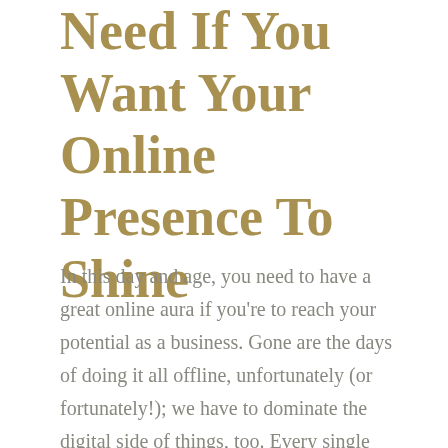Need If You Want Your Online Presence To Shine
In this day and age, you need to have a great online aura if you're to reach your potential as a business. Gone are the days of doing it all offline, unfortunately (or fortunately!); we have to dominate the digital side of things, too. Every single business needs to have that online presence in order to grow and build on what they already have. We're in 2019 now, so we need to cater to this kind of era. Nearly every single person on the planet has a connection to the internet, and they'll all be surfing the web at one time or another – it's up